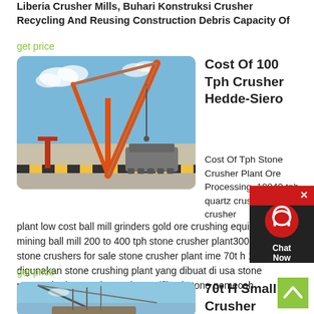Liberia Crusher Mills, Buhari Konstruksi Crusher Recycling And Reusing Construction Debris Capacity Of
get price
[Figure (photo): Orange crane/lifting equipment on a port/industrial site with heavy machinery in the background, blue sky with clouds]
Cost Of 100 Tph Crusher Hedde-Siero
Cost Of Tph Stone Crusher Plant Ore Processing. 10040 tph quartz crusher linestone crusher plant low cost ball mill grinders gold ore crushing equipment mining ball mill 200 to 400 tph stone crusher plant300 tonhr stone crushers for sale stone crusher plant ime 70t h 100t h digunakan stone crushing plant yang dibuat di usa stone pemecah plant 70t h 100t h spesifikasi stone pemecah
get price
[Figure (photo): Conveyor belt or mining equipment against a blue sky, partially visible at the bottom of the page]
70t H Small Crusher Machine For